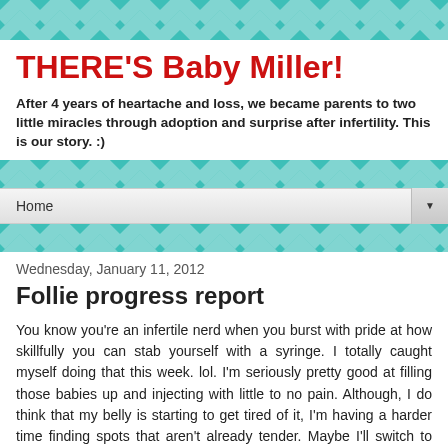THERE'S Baby Miller!
After 4 years of heartache and loss, we became parents to two little miracles through adoption and surprise after infertility. This is our story. :)
Home
Wednesday, January 11, 2012
Follie progress report
You know you're an infertile nerd when you burst with pride at how skillfully you can stab yourself with a syringe. I totally caught myself doing that this week. lol. I'm seriously pretty good at filling those babies up and injecting with little to no pain. Although, I do think that my belly is starting to get tired of it, I'm having a harder time finding spots that aren't already tender. Maybe I'll switch to injecting into my leg in a few days to change it up.